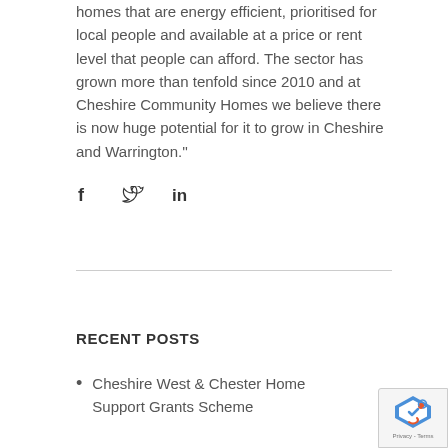homes that are energy efficient, prioritised for local people and available at a price or rent level that people can afford. The sector has grown more than tenfold since 2010 and at Cheshire Community Homes we believe there is now huge potential for it to grow in Cheshire and Warrington.''
[Figure (infographic): Social media share icons: Facebook (f), Twitter (bird), LinkedIn (in)]
RECENT POSTS
Cheshire West & Chester Home Support Grants Scheme